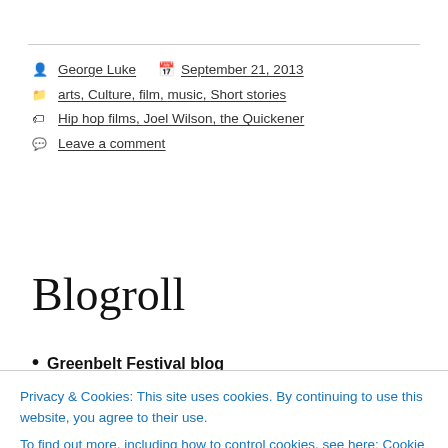George Luke  September 21, 2013
arts, Culture, film, music, Short stories
Hip hop films, Joel Wilson, the Quickener
Leave a comment
Blogroll
Greenbelt Festival blog
Privacy & Cookies: This site uses cookies. By continuing to use this website, you agree to their use.
To find out more, including how to control cookies, see here: Cookie Policy
Close and accept